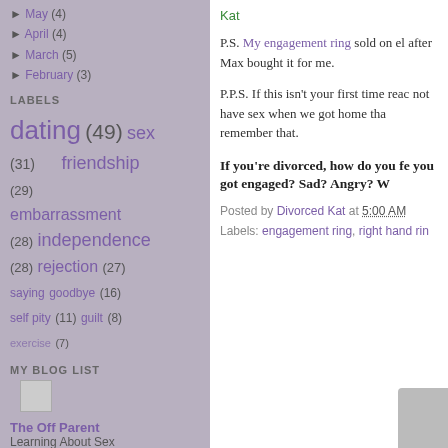► May (4)
► April (4)
► March (5)
► February (3)
LABELS
dating (49) sex (31) friendship (29) embarrassment (28) independence (28) rejection (27) saying goodbye (16) self pity (11) guilt (8) exercise (7)
MY BLOG LIST
The Off Parent
Learning About Sex
Kat
P.S. My engagement ring sold on el after Max bought it for me.
P.P.S. If this isn't your first time reac not have sex when we got home tha remember that.
If you're divorced, how do you fe you got engaged? Sad? Angry? W
Posted by Divorced Kat at 5:00 AM
Labels: engagement ring, right hand rin